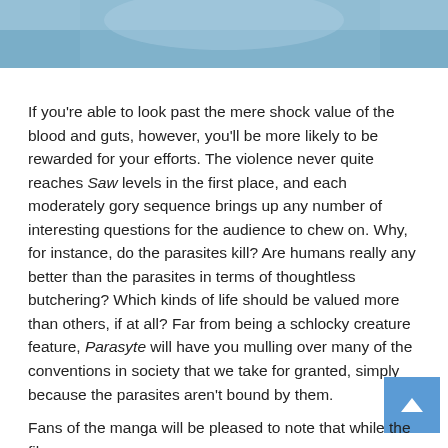[Figure (photo): Top portion of a photo showing a person in a light blue outfit or jacket, blue-toned image]
If you're able to look past the mere shock value of the blood and guts, however, you'll be more likely to be rewarded for your efforts. The violence never quite reaches Saw levels in the first place, and each moderately gory sequence brings up any number of interesting questions for the audience to chew on. Why, for instance, do the parasites kill? Are humans really any better than the parasites in terms of thoughtless butchering? Which kinds of life should be valued more than others, if at all? Far from being a schlocky creature feature, Parasyte will have you mulling over many of the conventions in society that we take for granted, simply because the parasites aren't bound by them.
Fans of the manga will be pleased to note that while the film